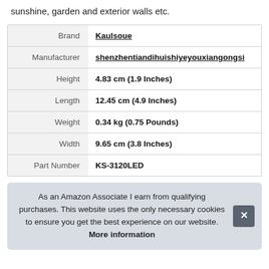sunshine, garden and exterior walls etc.
|  |  |
| --- | --- |
| Brand | Kaulsoue |
| Manufacturer | shenzhentiandihuishiyeyouxiangongsi |
| Height | 4.83 cm (1.9 Inches) |
| Length | 12.45 cm (4.9 Inches) |
| Weight | 0.34 kg (0.75 Pounds) |
| Width | 9.65 cm (3.8 Inches) |
| Part Number | KS-3120LED |
As an Amazon Associate I earn from qualifying purchases. This website uses the only necessary cookies to ensure you get the best experience on our website. More information